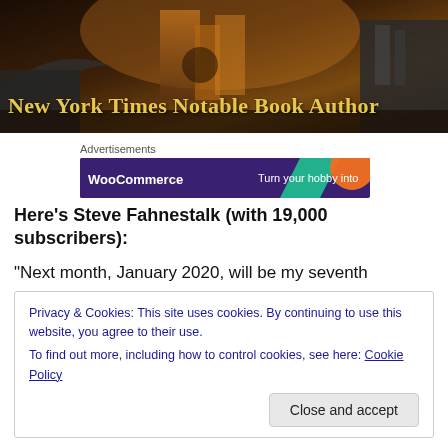[Figure (photo): Sci-fi/fantasy cityscape banner image with futuristic architecture, warm golden tones. Overlaid text reads 'New York Times Notable Book Author' in yellow/gold bold serif font.]
Advertisements
[Figure (screenshot): WooCommerce advertisement banner with purple/dark background, teal and orange shapes, white WooCommerce logo text, and text 'Turn your hobby into']
Here’s Steve Fahnestalk (with 19,000 subscribers):
“Next month, January 2020, will be my seventh
Privacy & Cookies: This site uses cookies. By continuing to use this website, you agree to their use.
To find out more, including how to control cookies, see here: Cookie Policy
Close and accept
2019 in particular), I’ve chosen to review two very good